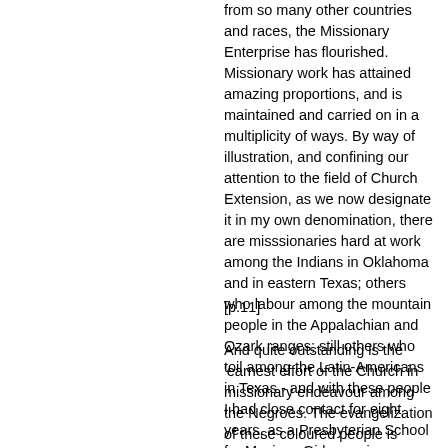from so many other countries and races, the Missionary Enterprise has flourished. Missionary work has attained amazing proportions, and is maintained and carried on in a multiplicity of ways. By way of illustration, and confining our attention to the field of Church Extension, as we now designate it in my own denomination, there are misssionaries hard at work among the Indians in Oklahoma and in eastern Texas; others who labour among the mountain people in the Appalachian and Ozark ranges; still others who toil among the Latin-Americans in Texas - and with these people I had close contact for eight years, as a Presbyterian School for Mexican Girls was in my own parish. Nor must I fail to include an Italian Mission in Kansas City, Missouri, a Chinese Mission in New Orleans, Louisiana, and a Centre for Jews in Baltimore, Maryland.
[p.11]
And quite outstanding is the 'earnest effort of the Church in missionary endeavour among the Negroes. The evangelization of these coloured people is today a supreme task for white protestant opinion...